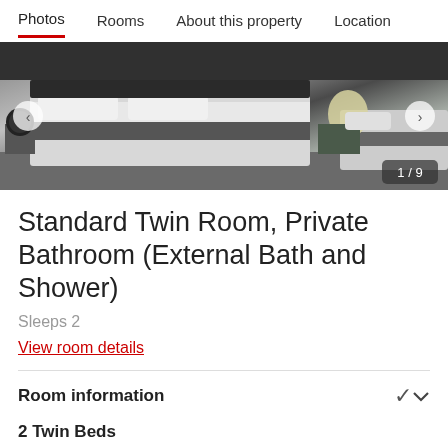Photos  Rooms  About this property  Location
[Figure (photo): Hotel room photo showing twin beds with striped grey/white bedding, dark headboard, bedside lamp visible, image carousel showing 1/9]
Standard Twin Room, Private Bathroom (External Bath and Shower)
Sleeps 2
View room details
Room information
2 Twin Beds